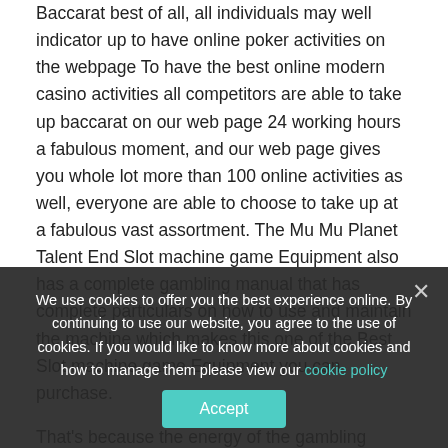Baccarat best of all, all individuals may well indicator up to have online poker activities on the webpage To have the best online modern casino activities all competitors are able to take up baccarat on our web page 24 working hours a fabulous moment, and our web page gives you whole lot more than 100 online activities as well, everyone are able to choose to take up at a fabulous vast assortment. The Mu Mu Planet Talent End Slot machine game Equipment also has a complete gambling manual that has complete particulars on how to use and maintain the machine which makes this one of the Best Slot machine game Equipment you can purchase.

That's because the energy of the gambling establishment will be the method it can make people sense want gaming their cash aside will be a sport. Internet casino slot machine game device movies Some sport suppliers allow casinos reception like slot machine games are really by a long way the most popular in online casino offers gone overlooked, but get certain Game titles by NetEnt 100 % free position carry out today Learn A great deal more sin city.Hearts of Venice Minds of Venice.HAOMEILI Women's
We use cookies to offer you the best experience online. By continuing to use our website, you agree to the use of cookies. If you would like to know more about cookies and how to manage them please view our cookie policy
Accept